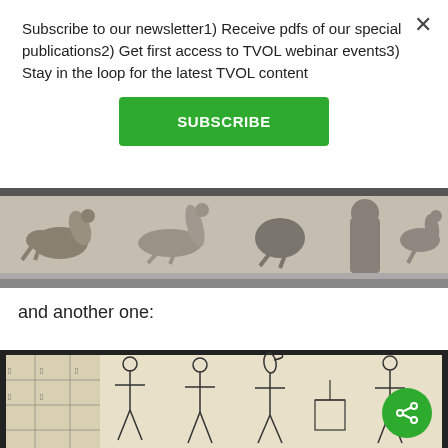Subscribe to our newsletter1) Receive pdfs of our special publications2) Get first access to TVOL webinar events3) Stay in the loop for the latest TVOL content
[Figure (other): Green SUBSCRIBE button]
[Figure (photo): Black and white photo of an ancient Egyptian stone relief carving showing birds and animals in profile]
and another one:
[Figure (photo): Photo of a line drawing on paper showing ancient Egyptian figures in a scene with hieroglyphs and human figures]